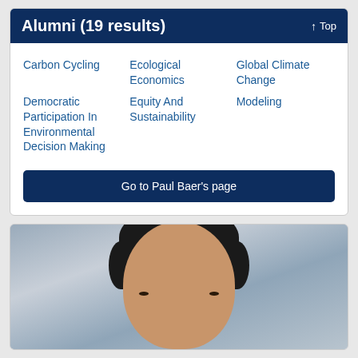Alumni (19 results)
Carbon Cycling
Democratic Participation In Environmental Decision Making
Ecological Economics
Equity And Sustainability
Global Climate Change
Modeling
Go to Paul Baer's page
[Figure (photo): Partial headshot of a person with dark hair against a stone/textured background, cropped to show top of head and forehead area only.]